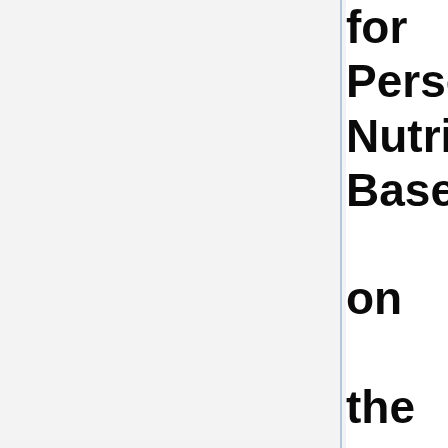for Personalized Nutrition Based on the Gut Microbiome to Tide Over the